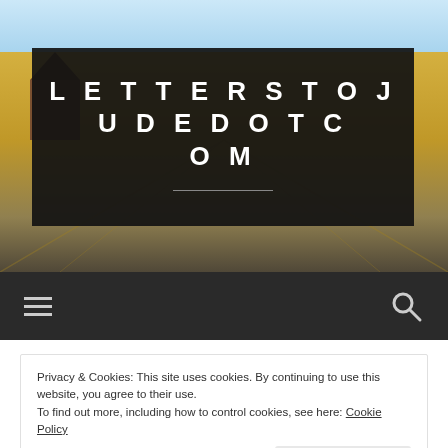[Figure (photo): Farmhouse and golden field with blue sky background used as hero image for website header]
LETTERSTOJUDEDOTCOM
[Figure (other): Dark navigation bar with hamburger menu icon on left and search icon on right]
Privacy & Cookies: This site uses cookies. By continuing to use this website, you agree to their use.
To find out more, including how to control cookies, see here: Cookie Policy
Close and accept